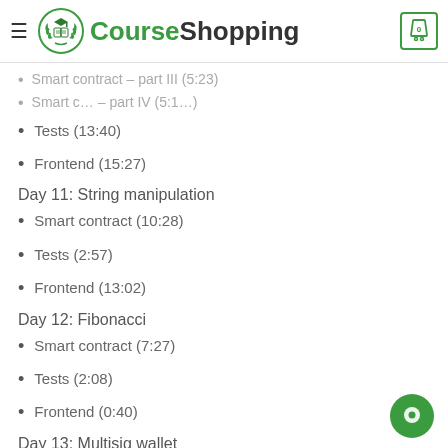CourseShopping
Tests (13:40)
Frontend (15:27)
Day 11: String manipulation
Smart contract (10:28)
Tests (2:57)
Frontend (13:02)
Day 12: Fibonacci
Smart contract (7:27)
Tests (2:08)
Frontend (0:40)
Day 13: Multisig wallet